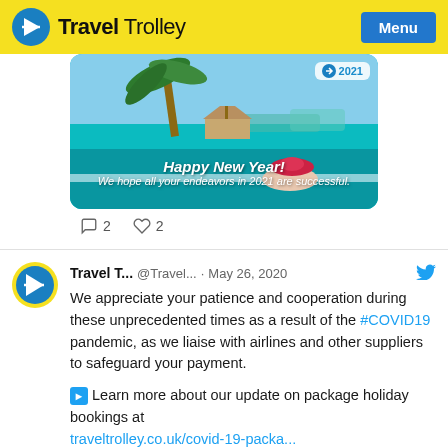[Figure (logo): Travel Trolley logo with yellow background header bar and blue Menu button]
[Figure (photo): Tropical resort pool image with palm tree and woman in pink hat, overlaid with Happy New Year 2021 text]
2  2
Travel T...  @Travel...  ·  May 26, 2020
We appreciate your patience and cooperation during these unprecedented times as a result of the #COVID19 pandemic, as we liaise with airlines and other suppliers to safeguard your payment.
➡ Learn more about our update on package holiday bookings at traveltrolley.co.uk/covid-19-packa...